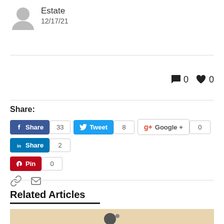Estate
12/17/21
0  0
Share:
Share 33  Tweet 8  Google + 0  Share 2  Pin 0
Related Articles